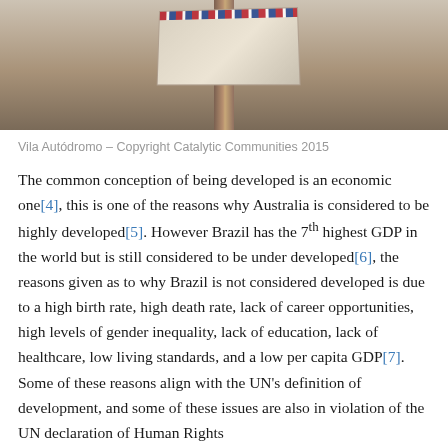[Figure (photo): Photograph of a sign on a pole, partially visible, likely at Vila Autódromo. The image shows a sign or signpost with a flag-like element at the top, set against a light background.]
Vila Autódromo – Copyright Catalytic Communities 2015
The common conception of being developed is an economic one[4], this is one of the reasons why Australia is considered to be highly developed[5]. However Brazil has the 7th highest GDP in the world but is still considered to be under developed[6], the reasons given as to why Brazil is not considered developed is due to a high birth rate, high death rate, lack of career opportunities, high levels of gender inequality, lack of education, lack of healthcare, low living standards, and a low per capita GDP[7]. Some of these reasons align with the UN's definition of development, and some of these issues are also in violation of the UN declaration of Human Rights